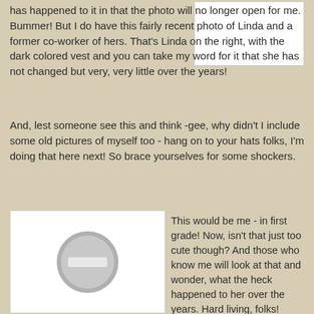has happened to it in that the photo will no longer open for me. Bummer! But I do have this fairly recent photo of Linda and a former co-worker of hers. That's Linda on the right, with the dark colored vest and you can take my word for it that she has not changed but very, very little over the years!
[Figure (photo): White rectangle placeholder photo in top right area]
And, lest someone see this and think -gee, why didn't I include some old pictures of myself too - hang on to your hats folks, I'm doing that here next! So brace yourselves for some shockers.
[Figure (photo): White rectangle with grey circle and minus symbol placeholder image in bottom left]
This would be me - in first grade! Now, isn't that just too cute though? And those who know me will look at that and wonder, what the heck happened to her over the years. Hard living, folks! That'll do you in every doggone time ya know!